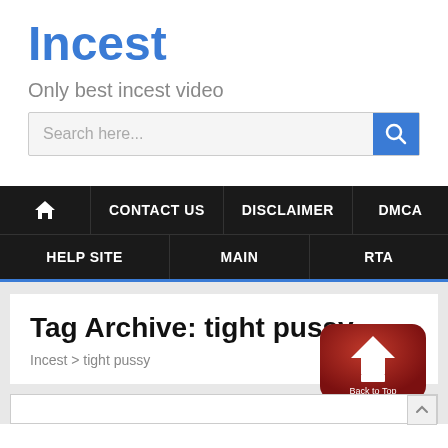Incest
Only best incest video
[Figure (screenshot): Search bar with placeholder text 'Search here...' and a blue search button with magnifier icon]
Home | CONTACT US | DISCLAIMER | DMCA | HELP SITE | MAIN | RTA
Tag Archive: tight pussy
Incest > tight pussy
[Figure (illustration): Red rounded rectangle 'Back to Top' button with upward arrow icon]